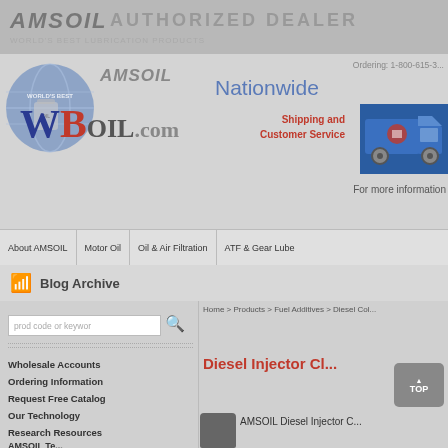[Figure (screenshot): AMSOIL Authorized Dealer website header banner with logo, navigation, and product page showing Diesel Injector Cleaner. Includes worldwide shipping info, phone number, navigation bar, blog archive section, search box, sidebar links, and product listing.]
AMSOIL AUTHORIZED DEALER
Ordering: 1-800-615-3...
Nationwide Shipping and Customer Service
For more information
About AMSOIL | Motor Oil | Oil & Air Filtration | ATF & Gear Lube
Blog Archive
Home > Products > Fuel Additives > Diesel Col...
Wholesale Accounts
Ordering Information
Request Free Catalog
Our Technology
Research Resources
AMSOIL Te...
Diesel Injector Cl...
AMSOIL Diesel Injector C...